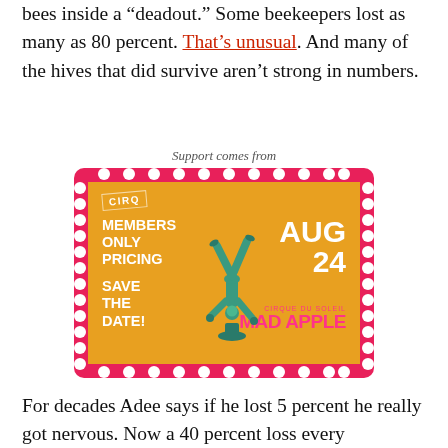bees inside a "deadout." Some beekeepers lost as many as 80 percent. That's unusual. And many of the hives that did survive aren't strong in numbers.
Support comes from
[Figure (illustration): Advertisement for Cirque du Soleil Mad Apple show. Ticket-shaped graphic with pink border and orange background. Features CIRQ logo, text 'MEMBERS ONLY PRICING', 'SAVE THE DATE!', 'AUG 24', 'Cirque du Soleil MAD APPLE' in pink text, and an acrobat figure illustration.]
For decades Adee says if he lost 5 percent he really got nervous. Now a 40 percent loss every